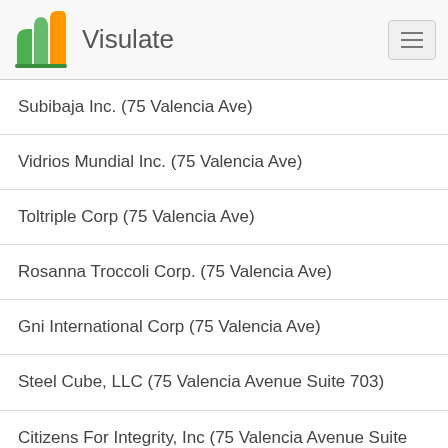Visulate
Subibaja Inc. (75 Valencia Ave)
Vidrios Mundial Inc. (75 Valencia Ave)
Toltriple Corp (75 Valencia Ave)
Rosanna Troccoli Corp. (75 Valencia Ave)
Gni International Corp (75 Valencia Ave)
Steel Cube, LLC (75 Valencia Avenue Suite 703)
Citizens For Integrity, Inc (75 Valencia Avenue Suite 703)
Candado Investment Corp. (75 Valencia Avenue Suite 703)
Family Counseling And Coaching Of Miami Inc (75 Valencia Ave Suite 301)